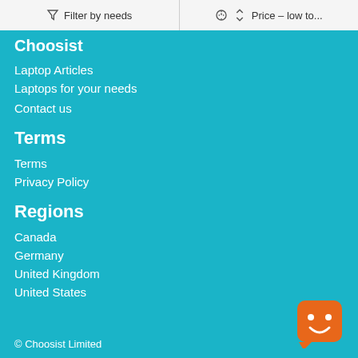Filter by needs | Price - low to...
Choosist
Laptop Articles
Laptops for your needs
Contact us
Terms
Terms
Privacy Policy
Regions
Canada
Germany
United Kingdom
United States
© Choosist Limited
[Figure (illustration): Orange rounded square chatbot icon with white smiley face]